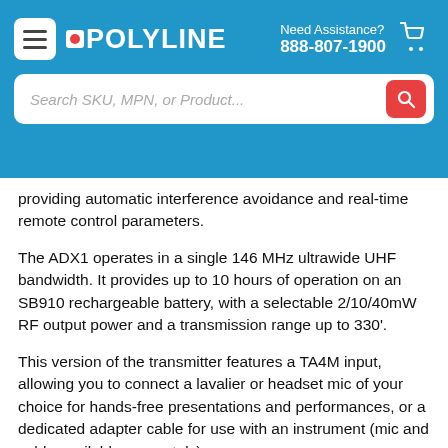POLYLINE | Need Assistance? 888-807-1900
[Figure (screenshot): Search bar with placeholder text 'Search SKU, MPN, or Product...' and a red search button]
providing automatic interference avoidance and real-time remote control parameters.
The ADX1 operates in a single 146 MHz ultrawide UHF bandwidth. It provides up to 10 hours of operation on an SB910 rechargeable battery, with a selectable 2/10/40mW RF output power and a transmission range up to 330'.
This version of the transmitter features a TA4M input, allowing you to connect a lavalier or headset mic of your choice for hands-free presentations and performances, or a dedicated adapter cable for use with an instrument (mic and cable available separately).
With a durable, moisture-resistant, lightweight aluminum